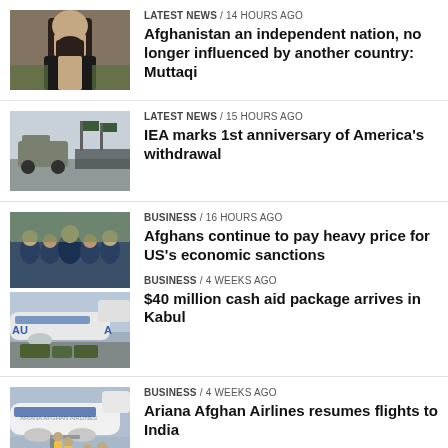[Figure (photo): Man with beard wearing black vest, Taliban official]
LATEST NEWS / 14 hours ago
Afghanistan an independent nation, no longer influenced by another country: Muttaqi
[Figure (photo): Military parade with vehicles and soldiers]
LATEST NEWS / 15 hours ago
IEA marks 1st anniversary of America’s withdrawal
[Figure (photo): Crowd of people in blue, Afghanistan economic situation]
BUSINESS / 16 hours ago
Afghans continue to pay heavy price for US’s economic sanctions
[Figure (photo): Cargo unloaded from airplane at Kabul airport]
BUSINESS / 4 weeks ago
$40 million cash aid package arrives in Kabul
[Figure (photo): People boarding Ariana Afghan Airlines airplane]
BUSINESS / 4 weeks ago
Ariana Afghan Airlines resumes flights to India